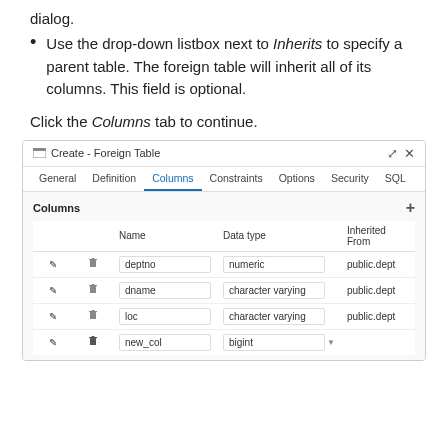dialog.
Use the drop-down listbox next to Inherits to specify a parent table. The foreign table will inherit all of its columns. This field is optional.
Click the Columns tab to continue.
[Figure (screenshot): Screenshot of pgAdmin 'Create - Foreign Table' dialog showing the Columns tab. The Columns tab is active (underlined in blue). A table lists four columns: deptno (numeric, inherited from public.dept), dname (character varying, inherited from public.dept), loc (character varying, inherited from public.dept), and new_col (bigint, not inherited). Each row has edit (pencil) and delete (trash) icons. A '+' button appears in the top right of the columns panel.]